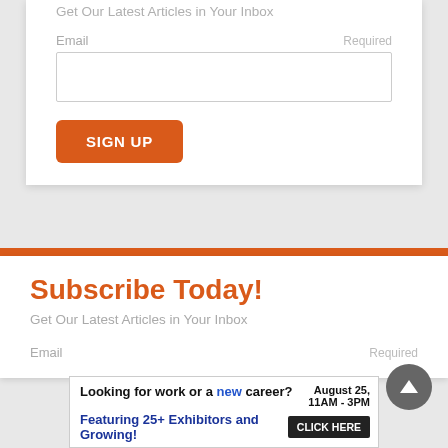Get Our Latest Articles in Your Inbox
Email
Required
SIGN UP
Subscribe Today!
Get Our Latest Articles in Your Inbox
Email
Required
[Figure (other): Advertisement banner: 'Looking for work or a new career? August 25, 11AM - 3PM. Featuring 25+ Exhibitors and Growing! CLICK HERE']